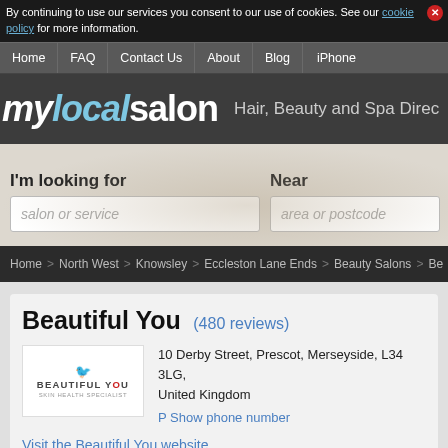By continuing to use our services you consent to our use of cookies. See our cookie policy for more information.
Home | FAQ | Contact Us | About | Blog | iPhone
mylocalsalon Hair, Beauty and Spa Directory
I'm looking for  [salon or service]   Near  [area or postcode]
Home > North West > Knowsley > Eccleston Lane Ends > Beauty Salons > Be
Beautiful You  (480 reviews)
10 Derby Street, Prescot, Merseyside, L34 3LG, United Kingdom
P Show phone number
Visit the Beautiful You website